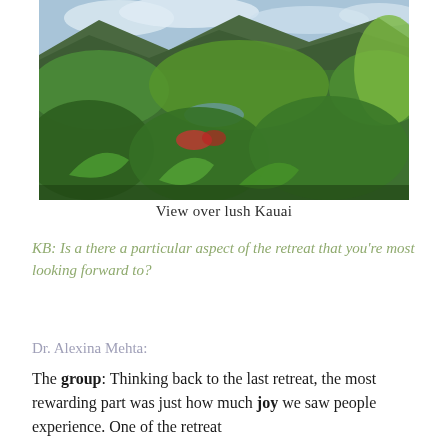[Figure (photo): Aerial view over lush green tropical vegetation in Kauai with mountains and clouds in the background and a small river or pond visible through the foliage.]
View over lush Kauai
KB: Is a there a particular aspect of the retreat that you're most looking forward to?
Dr. Alexina Mehta:
The group: Thinking back to the last retreat, the most rewarding part was just how much joy we saw people experience. One of the retreat